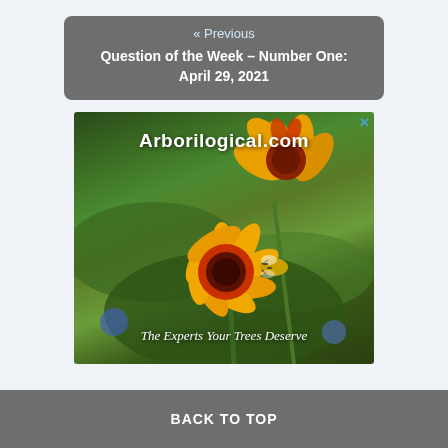« Previous
Question of the Week – Number One: April 29, 2021
[Figure (photo): Advertisement for Arborilogical.com showing a bee on a yellow and red wildflower (Gaillardia) with green foliage in the background. Text reads 'Arborilogical.com' at the top and 'The Experts Your Trees Deserve' at the bottom.]
BACK TO TOP